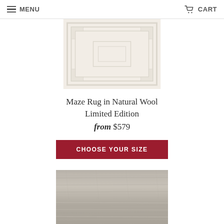MENU   CART
[Figure (photo): Cream/ivory textured rug with geometric Greek key maze pattern, partially visible from top portion of image]
Maze Rug in Natural Wool Limited Edition
from $579
CHOOSE YOUR SIZE
[Figure (photo): Gray/silver textured rug with horizontal striations, partially visible from bottom portion of page]